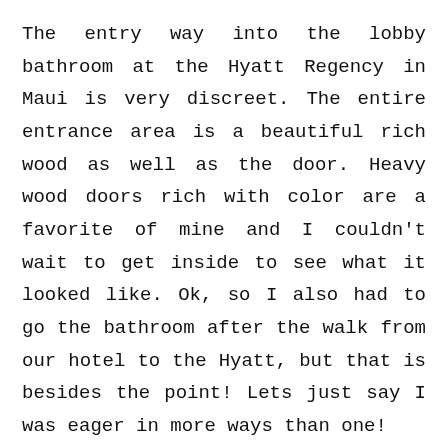The entry way into the lobby bathroom at the Hyatt Regency in Maui is very discreet. The entire entrance area is a beautiful rich wood as well as the door. Heavy wood doors rich with color are a favorite of mine and I couldn't wait to get inside to see what it looked like. Ok, so I also had to go the bathroom after the walk from our hotel to the Hyatt, but that is besides the point! Lets just say I was eager in more ways than one!
This is another view of the sink and counter area. As you can see the Hyatt Regency in Maui cared enough to decorate the washroom a bit and put a small nicely framed picture up. I am sure it was not expensive, did not take a lot of work to do, but it is the small things like this